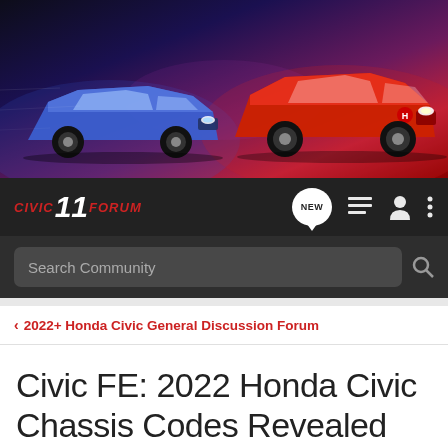[Figure (photo): Hero banner showing two Honda Civic cars — a blue one on the left and a red one on the right — against a dark dramatic background with colorful lighting effects.]
CIVIC 11 FORUM — navigation bar with NEW posts icon, list icon, user icon, and menu icon
Search Community
< 2022+ Honda Civic General Discussion Forum
Civic FE: 2022 Honda Civic Chassis Codes Revealed
→ Jump to Latest